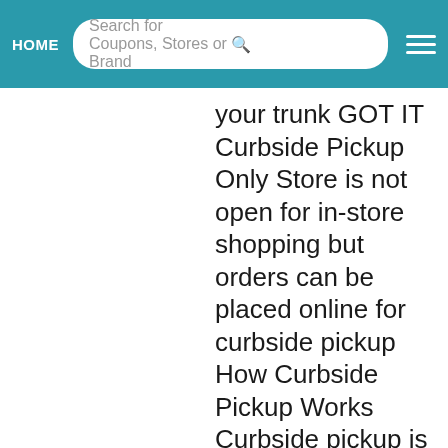HOME | Search for Coupons, Stores or Brand
your trunk GOT IT Curbside Pickup Only Store is not open for in-store shopping but orders can be placed online for curbside pickup How Curbside Pickup Works Curbside pickup is available until 6 00 PM unless the store closes earlier 1 Order your favorite supplies with Buy Online Pickup In Store 2 When your order s ready we ll send you an email with a number to call for curbside pickup 3 Call when you arrive get your ID ready and we ll bring your order right to your trunk GOT IT GOT IT Temporarily Closed Store is temporarily closed for in-store shopping and is not